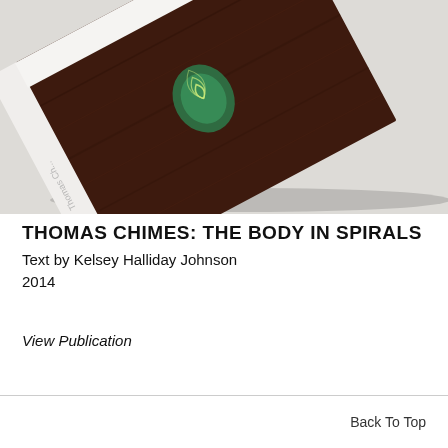[Figure (photo): Photo of a book titled 'Thomas Chimes' lying at an angle on a light gray surface. The book cover shows a dark wood-grain background with a green spiral/snail shell shape in the center. The title text is visible on the spine rotated sideways.]
THOMAS CHIMES: THE BODY IN SPIRALS
Text by Kelsey Halliday Johnson
2014
View Publication
Back To Top